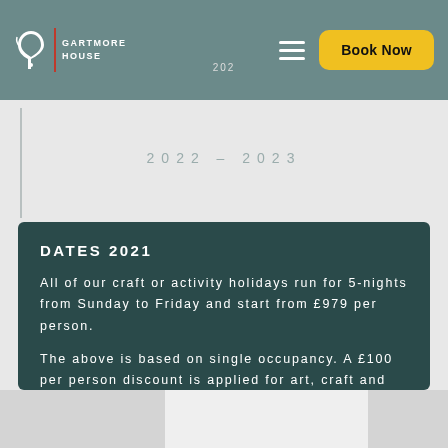Gartmore House — Book Now — 2022
2022 – 2023
DATES 2021
All of our craft or activity holidays run for 5-nights from Sunday to Friday and start from £979 per person.
The above is based on single occupancy. A £100 per person discount is applied for art, craft and activity guests on a shared occupancy basis.